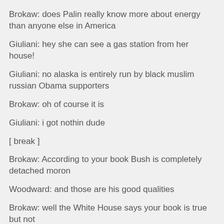Brokaw: does Palin really know more about energy than anyone else in America
Giuliani: hey she can see a gas station from her house!
Giuliani: no alaska is entirely run by black muslim russian Obama supporters
Brokaw: oh of course it is
Giuliani: i got nothin dude
[ break ]
Brokaw: According to your book Bush is completely detached moron
Woodward: and those are his good qualities
Brokaw: well the White House says your book is true but not